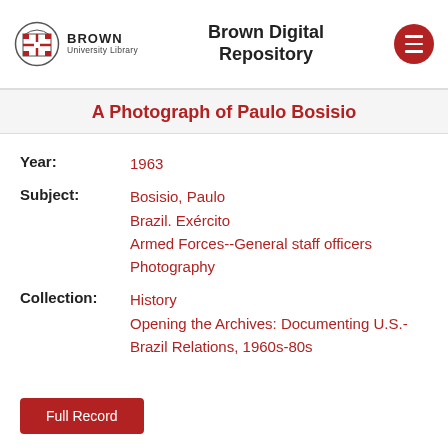Brown University Library — Brown Digital Repository
A Photograph of Paulo Bosisio
Year: 1963
Subject: Bosisio, Paulo | Brazil. Exército | Armed Forces--General staff officers | Photography
Collection: History | Opening the Archives: Documenting U.S.-Brazil Relations, 1960s-80s
Full Record
A Photograph of Paulo Bosisio